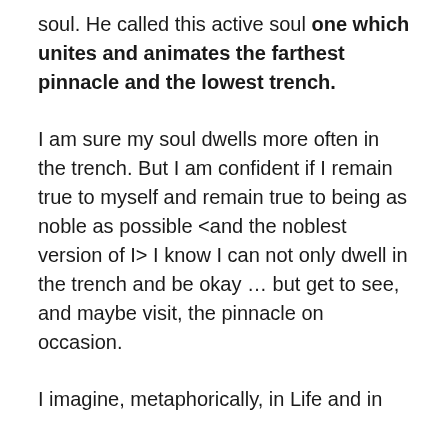soul. He called this active soul one which unites and animates the farthest pinnacle and the lowest trench.
I am sure my soul dwells more often in the trench. But I am confident if I remain true to myself and remain true to being as noble as possible <and the noblest version of I> I know I can not only dwell in the trench and be okay … but get to see, and maybe visit, the pinnacle on occasion.
I imagine, metaphorically, in Life and in